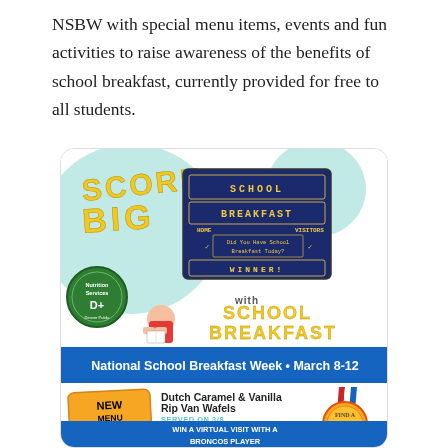NSBW with special menu items, events and fun activities to raise awareness of the benefits of school breakfast, currently provided for free to all students.
[Figure (infographic): National School Breakfast Week promotional flyer. Top section shows 'SCORE BIG WITH SCHOOL BREAKFAST' in bold yellow letters, a scoreboard graphic in dark blue showing 'SCHOOL BREAKFAST' and 'Did You Have School Breakfast Today? WINNER!', cartoon children playing, a Nutrition Services logo badge, and blue teal bubbles. A blue banner reads 'National School Breakfast Week • March 8-12'. Bottom section has a NEW MENU ITEMS! tag, lists Dutch Caramel & Vanilla Rip Van Wafels (SERVED ON 3/8) and Buttery Maple Belgian Waffles (SERVED ON 3/12), a gold medal graphic, and a blue banner at the bottom reading 'WIN A VIRTUAL VISIT WITH A BRONCOS PLAYER'.]